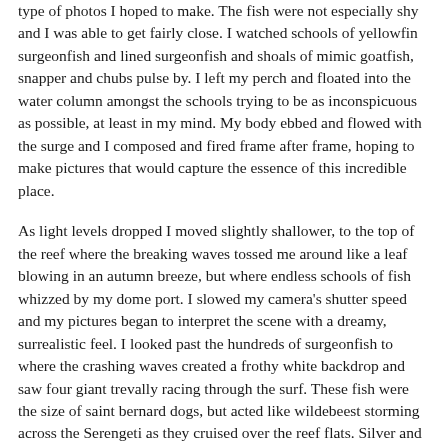type of photos I hoped to make. The fish were not especially shy and I was able to get fairly close. I watched schools of yellowfin surgeonfish and lined surgeonfish and shoals of mimic goatfish, snapper and chubs pulse by. I left my perch and floated into the water column amongst the schools trying to be as inconspicuous as possible, at least in my mind. My body ebbed and flowed with the surge and I composed and fired frame after frame, hoping to make pictures that would capture the essence of this incredible place.
As light levels dropped I moved slightly shallower, to the top of the reef where the breaking waves tossed me around like a leaf blowing in an autumn breeze, but where endless schools of fish whizzed by my dome port. I slowed my camera's shutter speed and my pictures began to interpret the scene with a dreamy, surrealistic feel. I looked past the hundreds of surgeonfish to where the crashing waves created a frothy white backdrop and saw four giant trevally racing through the surf. These fish were the size of saint bernard dogs, but acted like wildebeest storming across the Serengeti as they cruised over the reef flats. Silver and black in color, they possessed a real "attitude" from my layman's